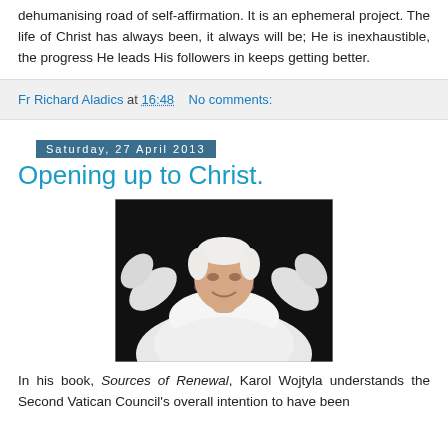dehumanising road of self-affirmation. It is an ephemeral project. The life of Christ has always been, it always will be; He is inexhaustible, the progress He leads His followers in keeps getting better.
Fr Richard Aladics at 16:48    No comments:
Saturday, 27 April 2013
Opening up to Christ.
[Figure (photo): Photo of Pope Benedict XVI dressed in white papal vestments, smiling and raising his arms wide, against a dark background.]
In his book, Sources of Renewal, Karol Wojtyla understands the Second Vatican Council's overall intention to have been